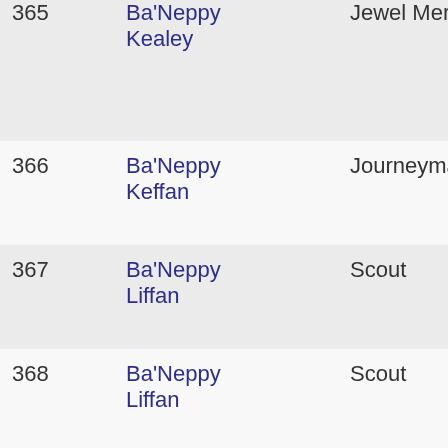| # | Name | Role |
| --- | --- | --- |
| 365 | Ba'Neppy Kealey | Jewel Merc… |
| 366 | Ba'Neppy Keffan | Journeyman… |
| 367 | Ba'Neppy Liffan | Scout |
| 368 | Ba'Neppy Liffan | Scout |
| 369 | Ba'Neppy Liffan | Scout |
| 370 | Ba'Neppy Liffan | Scout |